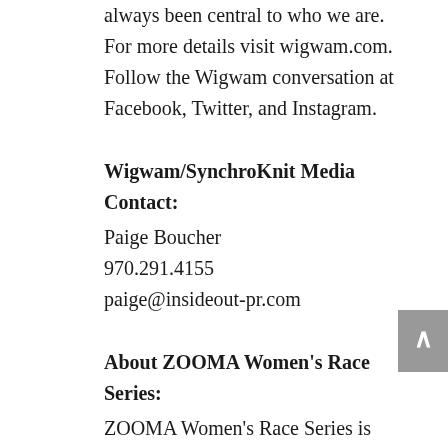always been central to who we are. For more details visit wigwam.com. Follow the Wigwam conversation at Facebook, Twitter, and Instagram.
Wigwam/SynchroKnit Media Contact:
Paige Boucher
970.291.4155
paige@insideout-pr.com
About ZOOMA Women's Race Series:
ZOOMA Women's Race Series is purposefully designed to be a supportive running community for women. Destination race weekends around the country